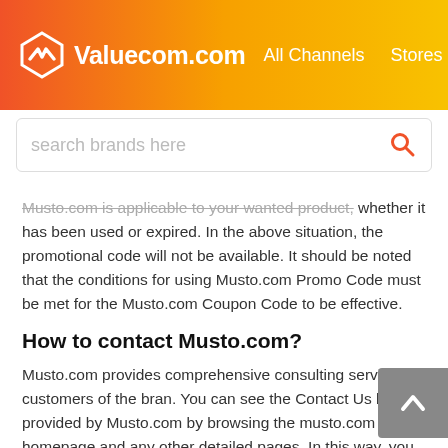Valuecom.com  All Channels  Stores
[Figure (screenshot): Search bar with placeholder text 'search brands here' and a red/orange search icon on the right]
Musto.com is applicable to your wanted product, whether it has been used or expired. In the above situation, the promotional code will not be available. It should be noted that the conditions for using Musto.com Promo Code must be met for the Musto.com Coupon Code to be effective.
How to contact Musto.com?
Musto.com provides comprehensive consulting services to customers of the bran. You can see the Contact Us button provided by Musto.com by browsing the musto.com homepage and any other detailed pages. In this way, you can contact Musto.com customer service as soon as possible.